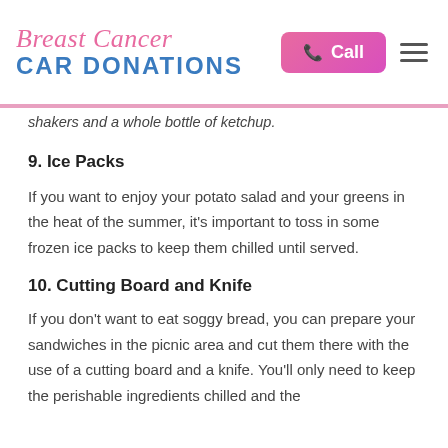Breast Cancer CAR DONATIONS
shakers and a whole bottle of ketchup.
9. Ice Packs
If you want to enjoy your potato salad and your greens in the heat of the summer, it's important to toss in some frozen ice packs to keep them chilled until served.
10. Cutting Board and Knife
If you don't want to eat soggy bread, you can prepare your sandwiches in the picnic area and cut them there with the use of a cutting board and a knife. You'll only need to keep the perishable ingredients chilled and the